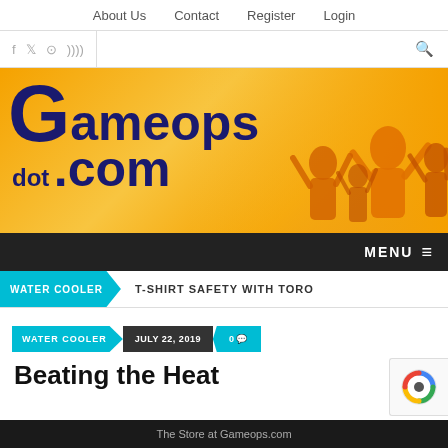About Us   Contact   Register   Login
[Figure (logo): Gameops.com logo with crowd illustration banner]
MENU
WATER COOLER   T-SHIRT SAFETY WITH TORO
WATER COOLER   JULY 22, 2019   0
Beating the Heat
The Store at Gameops.com